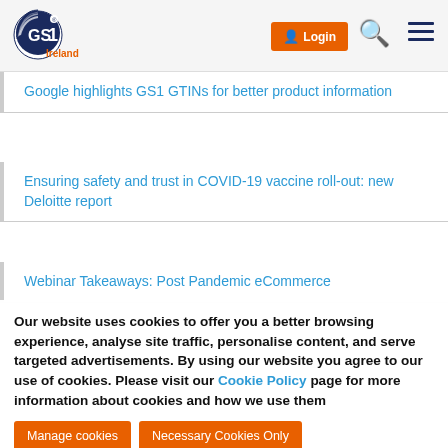GS1 Ireland — Login, Search, Menu
Google highlights GS1 GTINs for better product information
Ensuring safety and trust in COVID-19 vaccine roll-out: new Deloitte report
Webinar Takeaways: Post Pandemic eCommerce
Our website uses cookies to offer you a better browsing experience, analyse site traffic, personalise content, and serve targeted advertisements. By using our website you agree to our use of cookies. Please visit our Cookie Policy page for more information about cookies and how we use them